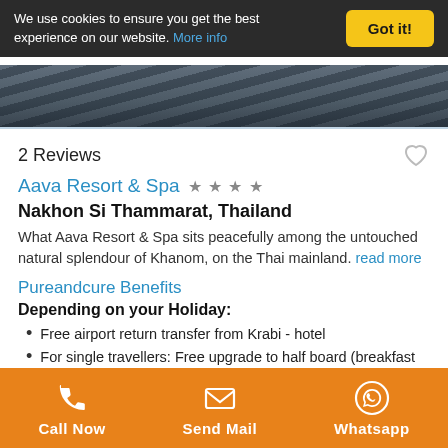We use cookies to ensure you get the best experience on our website. More info | Got it!
[Figure (photo): Partial view of a resort or spa area with dark tiled surfaces]
2 Reviews
Aava Resort & Spa ★★★★
Nakhon Si Thammarat, Thailand
What Aava Resort & Spa sits peacefully among the untouched natural splendour of Khanom, on the Thai mainland. read more
Pureandcure Benefits
Depending on your Holiday:
Free airport return transfer from Krabi - hotel
For single travellers: Free upgrade to half board (breakfast and dinner)
For two persons in one room: Free room
Call Now | Send Mail | Whatsapp